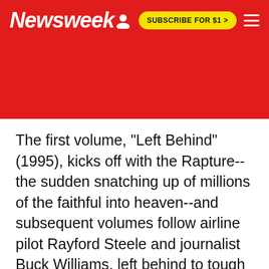Newsweek  SUBSCRIBE FOR $1 >
The first volume, "Left Behind" (1995), kicks off with the Rapture--the sudden snatching up of millions of the faithful into heaven--and subsequent volumes follow airline pilot Rayford Steele and journalist Buck Williams, left behind to tough it out down here on earth through the seven-year Tribulation and the rule of the Antichrist. The 13th and final installment of...